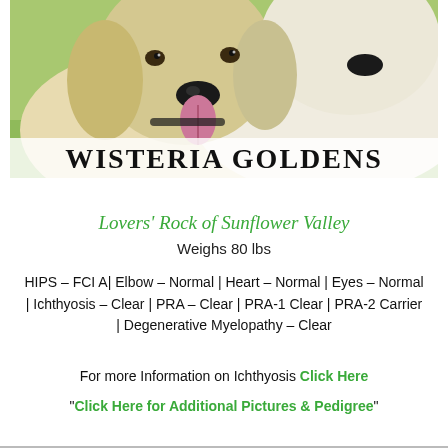[Figure (photo): Two golden retrievers (pale cream/white) photographed outdoors with green background; one dog faces the camera with tongue out, the other is visible on the right side. 'WISTERIA GOLDENS' text overlaid at the bottom of the image in bold serif font.]
Lovers' Rock of Sunflower Valley
Weighs 80 lbs
HIPS – FCI A| Elbow – Normal | Heart – Normal | Eyes – Normal | Ichthyosis – Clear | PRA – Clear | PRA-1 Clear | PRA-2 Carrier | Degenerative Myelopathy – Clear
For more Information on Ichthyosis Click Here
"Click Here for Additional Pictures & Pedigree"